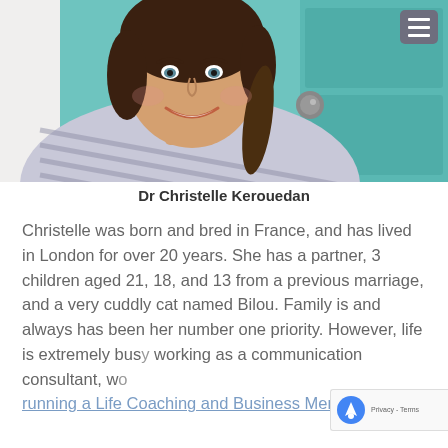[Figure (photo): Portrait photo of Dr Christelle Kerouedan, a woman smiling, wearing a striped top, with braided hair, standing in front of a teal/turquoise door with a door handle visible.]
Dr Christelle Kerouedan
Christelle was born and bred in France, and has lived in London for over 20 years. She has a partner, 3 children aged 21, 18, and 13 from a previous marriage, and a very cuddly cat named Bilou. Family is and always has been her number one priority. However, life is extremely busy working as a communication consultant, w running a Life Coaching and Business Mentoring